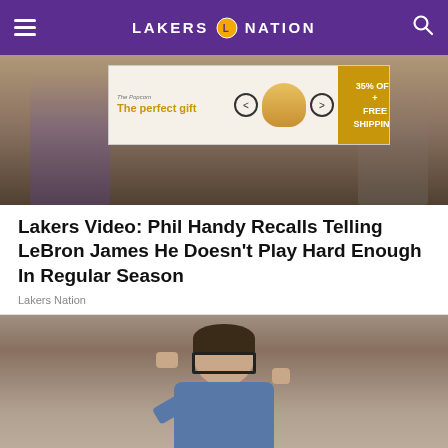LAKERS NATION
[Figure (photo): Hero image of Lakers players on basketball court with advertisement banner overlay showing 'The perfect gift' with 35% OFF + FREE SHIPPING promo]
Lakers Video: Phil Handy Recalls Telling LeBron James He Doesn't Play Hard Enough In Regular Season
Lakers Nation
[Figure (photo): Photo of Phil Handy, a man with short hair and glasses, wearing a denim jacket, adjusting his glasses with one hand]